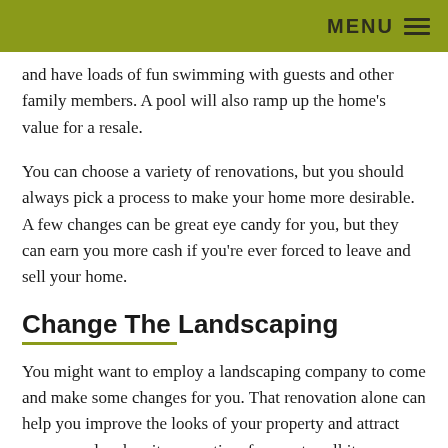MENU
and have loads of fun swimming with guests and other family members. A pool will also ramp up the home’s value for a resale.
You can choose a variety of renovations, but you should always pick a process to make your home more desirable. A few changes can be great eye candy for you, but they can earn you more cash if you’re ever forced to leave and sell your home.
Change The Landscaping
You might want to employ a landscaping company to come and make some changes for you. That renovation alone can help you improve the looks of your property and attract more people when it comes time for you to sell it.
Revamp The Patio